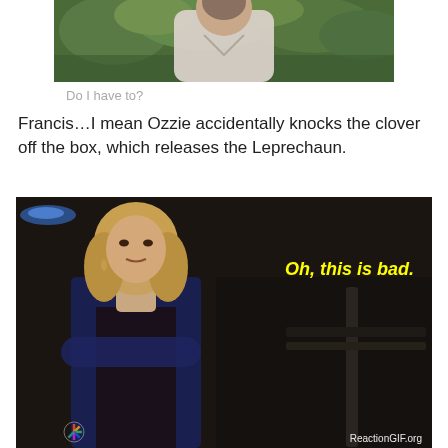[Figure (photo): Partial photo of a man in a white shirt with green background/foliage, cropped at top]
Do I have to?
Francis…I mean Ozzie accidentally knocks the clover off the box, which releases the Leprechaun.
[Figure (photo): Screenshot from TV show (NBC) of a blonde woman in a blue cardigan with arms crossed, looking concerned, with subtitle text 'Oh, this is bad.' in yellow. Watermark reads ReactionGIF.org]